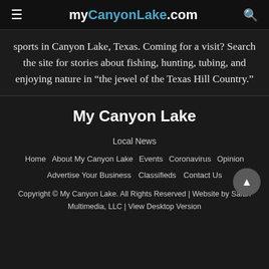myCanyonLake.com
sports in Canyon Lake, Texas. Coming for a visit? Search the site for stories about fishing, hunting, tubing, and enjoying nature in “the jewel of the Texas Hill Country.”
My Canyon Lake
Local News
Home
About My Canyon Lake
Events
Coronavirus
Opinion
Advertise Your Business
Classifieds
Contact Us
Copyright © My Canyon Lake. All Rights Reserved | Website by Safari Multimedia, LLC | View Desktop Version